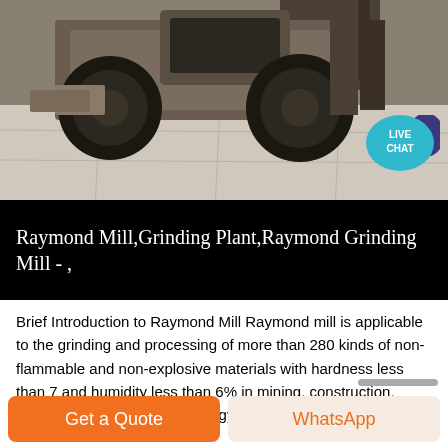[Figure (photo): A front-end loader / heavy construction vehicle on a concrete floor, photographed from the front showing large tires and ground surface. A teal live chat bubble appears in the upper right corner.]
Raymond Mill,Grinding Plant,Raymond Grinding Mill - ,
Brief Introduction to Raymond Mill Raymond mill is applicable to the grinding and processing of more than 280 kinds of non-flammable and non-explosive materials with hardness less than 7 and humidity less than 6% in mining, construction, chemical industry and metallurgy, such as stone flour, barite, bentonite, calcium carbonate, clinker, coal, dolomite, lead xide, limestone, marble, quartz ,
Get a Quote | WhatsApp